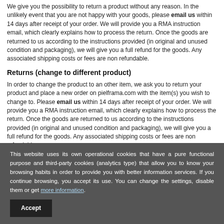We give you the possibility to return a product without any reason. In the unlikely event that you are not happy with your goods, please email us within 14 days after receipt of your order. We will provide you a RMA instruction email, which clearly explains how to process the return. Once the goods are returned to us according to the instructions provided (in original and unused condition and packaging), we will give you a full refund for the goods. Any associated shipping costs or fees are non refundable.
Returns (change to different product)
In order to change the product to an other item, we ask you to return your product and place a new order on pielframa.com with the item(s) you wish to change to. Please email us within 14 days after receipt of your order. We will provide you a RMA instruction email, which clearly explains how to process the return. Once the goods are returned to us according to the instructions provided (in original and unused condition and packaging), we will give you a full refund for the goods. Any associated shipping costs or fees are non refundable.
This website uses its own operational cookies that have a pure functional purpose and third-party cookies (analytics type) that allow you to know your browsing habits in order to provide you with better information services. If you continue browsing, you accept its use. You can change the settings, disable them or get more information.
The following payment methods are available: